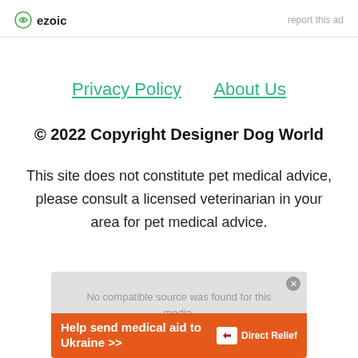ezoic  report this ad
Privacy Policy    About Us
© 2022 Copyright Designer Dog World
This site does not constitute pet medical advice, please consult a licensed veterinarian in your area for pet medical advice.
[Figure (other): Advertisement banner: grey background with 'No compatible source was found for this media.' text overlaid by an orange Direct Relief banner 'Help send medical aid to Ukraine >>']